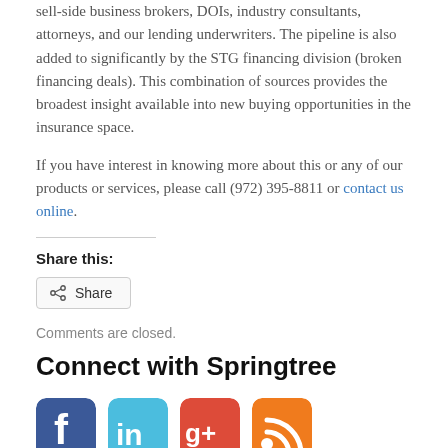sell-side business brokers, DOIs, industry consultants, attorneys, and our lending underwriters. The pipeline is also added to significantly by the STG financing division (broken financing deals). This combination of sources provides the broadest insight available into new buying opportunities in the insurance space.
If you have interest in knowing more about this or any of our products or services, please call (972) 395-8811 or contact us online.
Share this:
Comments are closed.
Connect with Springtree
[Figure (other): Four social media icons: Facebook (blue), LinkedIn (light blue), Google+ (red and white), RSS feed (orange)]